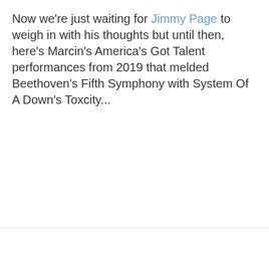Now we're just waiting for Jimmy Page to weigh in with his thoughts but until then, here's Marcin's America's Got Talent performances from 2019 that melded Beethoven's Fifth Symphony with System Of A Down's Toxcity...